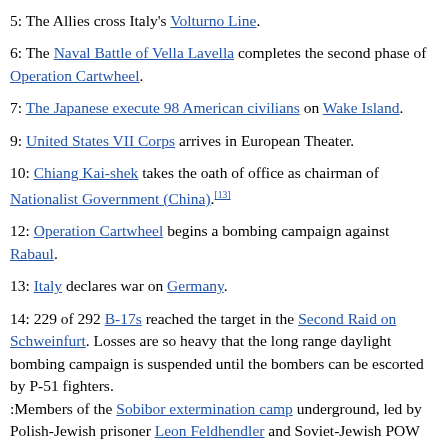5: The Allies cross Italy's Volturno Line.
6: The Naval Battle of Vella Lavella completes the second phase of Operation Cartwheel.
7: The Japanese execute 98 American civilians on Wake Island.
9: United States VII Corps arrives in European Theater.
10: Chiang Kai-shek takes the oath of office as chairman of Nationalist Government (China).[13]
12: Operation Cartwheel begins a bombing campaign against Rabaul.
13: Italy declares war on Germany.
14: 229 of 292 B-17s reached the target in the Second Raid on Schweinfurt. Losses are so heavy that the long range daylight bombing campaign is suspended until the bombers can be escorted by P-51 fighters. :Members of the Sobibor extermination camp underground, led by Polish-Jewish prisoner Leon Feldhendler and Soviet-Jewish POW Alexander Pechersky, succeeded in covertly killing eleven German SS officers and a number of camp